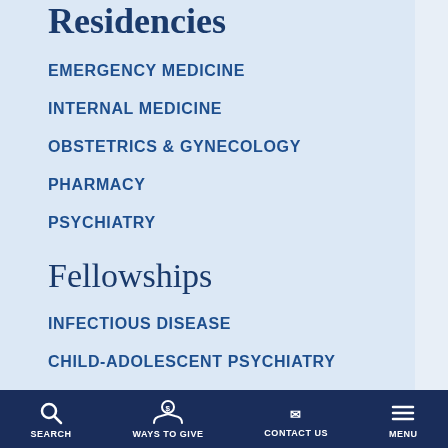Residencies
EMERGENCY MEDICINE
INTERNAL MEDICINE
OBSTETRICS & GYNECOLOGY
PHARMACY
PSYCHIATRY
Fellowships
INFECTIOUS DISEASE
CHILD-ADOLESCENT PSYCHIATRY
ADDICTION PSYCHIATRY
SEARCH   WAYS TO GIVE   CONTACT US   MENU